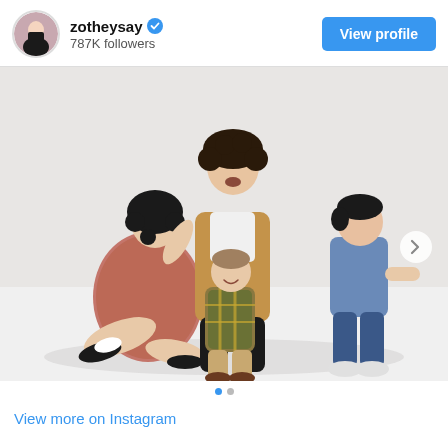zotheysay · 787K followers
[Figure (photo): Instagram post from zotheysay showing a family of four dressed as Seinfeld characters. A woman with dark curly hair in a floral dress sits on the floor. A man with curly hair in a tan jacket stands behind. Two young boys stand nearby, one in a plaid shirt with khaki pants and one in a blue shirt with jeans. White studio background.]
View more on Instagram